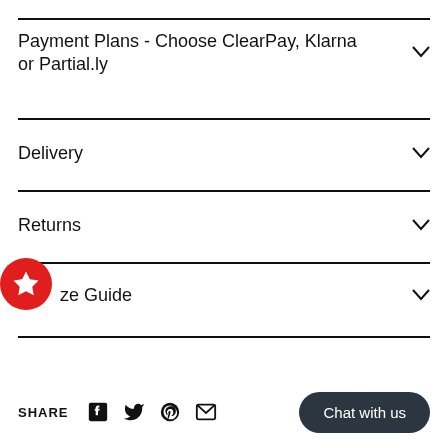Payment Plans - Choose ClearPay, Klarna or Partial.ly
Delivery
Returns
Size Guide
SHARE
[Figure (other): Social share icons: Facebook, Twitter, Pinterest, Email]
Chat with us